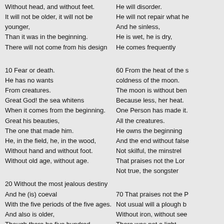Without head, and without feet.
It will not be older, it will not be younger,
Than it was in the beginning.
There will not come from his design

10 Fear or death.
He has no wants
From creatures.
Great God! the sea whitens
When it comes from the beginning.
Great his beauties,
The one that made him.
He, in the field, he, in the wood,
Without hand and without foot.
Without old age, without age.

20 Without the most jealous destiny
And he (is) coeval
With the five periods of the five ages.
And also is older,
Though there be five hundred thousand years.
And he is as wide
As the face of the earth,
And he was not born,
And he has not been seen.
He will disorder.
He will not repair what he
And he sinless,
He is wet, he is dry,
He comes frequently

60 From the heat of the s coldness of the moon.
The moon is without ben
Because less, her heat.
One Person has made it.
All the creatures.
He owns the beginning
And the end without false
Not skilful, the minstrel
That praises not the Lor
Not true, the songster

70 That praises not the P
Not usual will a plough b
Without iron, without see
There was not a light
Before the creation of he
There will not be a priest
That will not bless the wa
The perverse will not kno